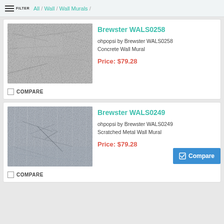FILTER / All / Wall / Wall Murals /
Brewster WALS0258
ohpopsi by Brewster WALS0258 Concrete Wall Mural
Price: $79.28
[Figure (photo): Grayscale concrete texture wall mural product image]
COMPARE
Brewster WALS0249
ohpopsi by Brewster WALS0249 Scratched Metal Wall Mural
Price: $79.28
[Figure (photo): Grayscale scratched metal texture wall mural product image]
COMPARE
Compare